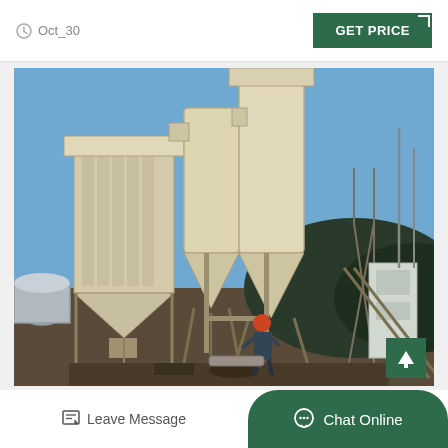Oct_30
GET PRICE
[Figure (photo): Industrial milling/grinding machine installation at an outdoor construction or mining site. The equipment includes large cylindrical silos, conical dust collectors, and a baghouse filter unit, all painted in cream/beige. A worker in a red hard hat is visible at the base. Rocky hills are visible in the background under a blue sky.]
Leave Message
Chat Online